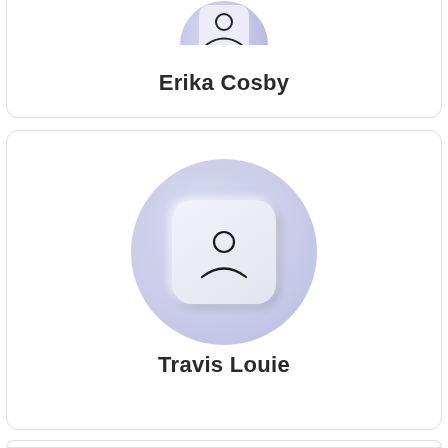[Figure (illustration): User profile card for Erika Cosby showing a partial avatar (circular profile image, cropped at top) with the name below]
Erika Cosby
[Figure (illustration): User profile card for Travis Louie showing a generic person icon inside a rounded square, inside a large blue-grey circle, with the name below]
Travis Louie
[Figure (illustration): Partial user profile card at bottom, showing top portion of a circular avatar image, cropped by page edge]